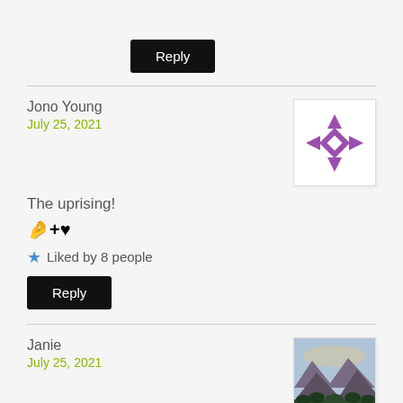Reply (button)
Jono Young
July 25, 2021
The uprising! 🤌+♥
★ Liked by 8 people
Reply (button)
Janie
July 25, 2021
Wakey Wakey People of this planet 🌍👍 💪🦋
Cheers Hugo